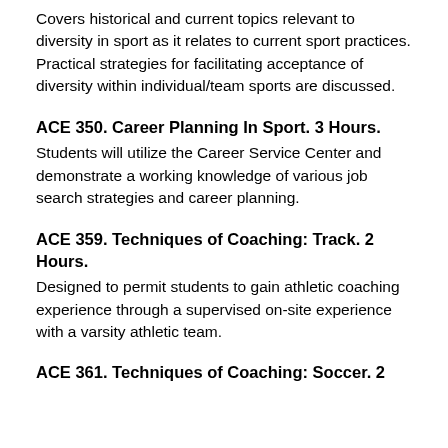Covers historical and current topics relevant to diversity in sport as it relates to current sport practices. Practical strategies for facilitating acceptance of diversity within individual/team sports are discussed.
ACE 350. Career Planning In Sport. 3 Hours.
Students will utilize the Career Service Center and demonstrate a working knowledge of various job search strategies and career planning.
ACE 359. Techniques of Coaching: Track. 2 Hours.
Designed to permit students to gain athletic coaching experience through a supervised on-site experience with a varsity athletic team.
ACE 361. Techniques of Coaching: Soccer. 2